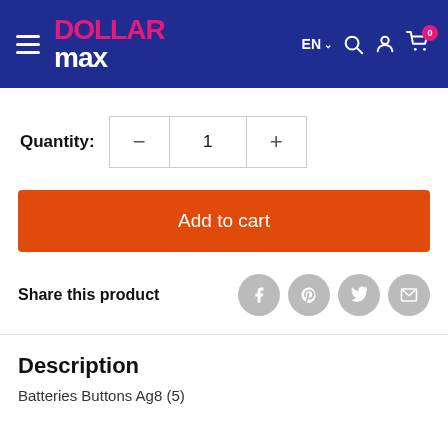Dollar Max — EN — navigation header with search, account, cart (0)
Quantity: 1
Add to cart
Share this product
Description
Batteries Buttons Ag8 (5)